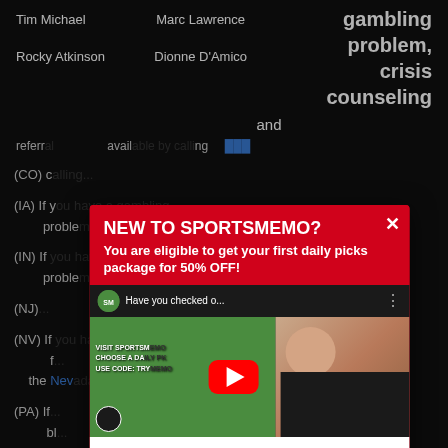Tim Michael   Marc Lawrence   gambling problem, crisis counseling
Rocky Atkinson   Dionne D'Amico
and
referral... available by calling...
(CO) c...
(IA) If you... problem...
(IN) If... problem...
(NJ)
(NV) If... the Nev...
(PA) If... bl...
[Figure (screenshot): Promotional modal popup for SportsMemo website. Red background with title 'NEW TO SPORTSMEMO?' and subtitle 'You are eligible to get your first daily picks package for 50% OFF!'. Contains an embedded YouTube video thumbnail showing SportsMemo logo and a woman. Below the video is a white CTA button reading 'Redeem TRYMEMO 50% OFF New User Coupon' with a right arrow. An X close button is in the top right corner.]